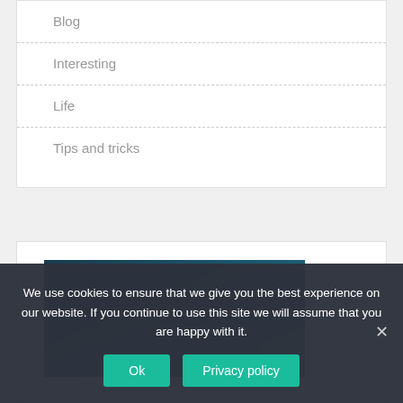Blog
Interesting
Life
Tips and tricks
[Figure (photo): Dark teal/blue gradient image, partially visible, inside a white card panel.]
We use cookies to ensure that we give you the best experience on our website. If you continue to use this site we will assume that you are happy with it.